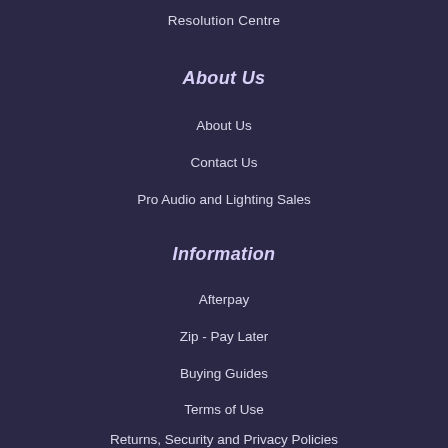Resolution Centre
About Us
About Us
Contact Us
Pro Audio and Lighting Sales
Information
Afterpay
Zip - Pay Later
Buying Guides
Terms of Use
Returns, Security and Privacy Policies